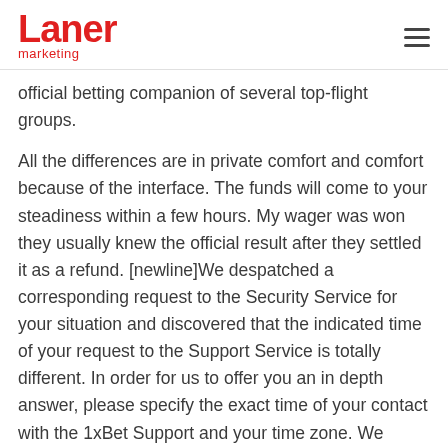Laner marketing
official betting companion of several top-flight groups.
All the differences are in private comfort and comfort because of the interface. The funds will come to your steadiness within a few hours. My wager was won they usually knew the official result after they settled it as a refund. [newline]We despatched a corresponding request to the Security Service for your situation and discovered that the indicated time of your request to the Support Service is totally different. In order for us to offer you an in depth answer, please specify the exact time of your contact with the 1xBet Support and your time zone. We would be very grateful should you may present screenshots of the correspondence.
Now that we have given you a brief summary of this